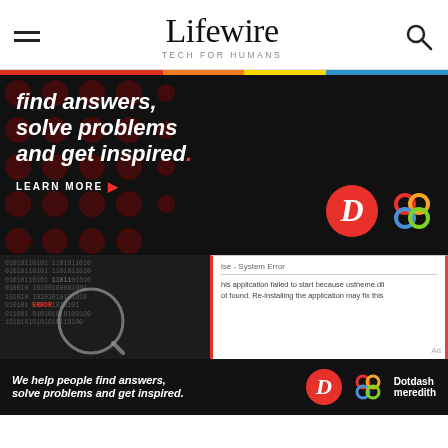Lifewire — TECH FOR HUMANS
[Figure (screenshot): Lifewire website header with hamburger menu, Lifewire logo, and search icon, with colored bar below]
[Figure (screenshot): Advertisement banner: dark background with red dots pattern, white bold italic text reading 'find answers, solve problems and get inspired.' with red period, LEARN MORE button with red arrow, Dotdash D logo and colorful Meredith logo]
[Figure (screenshot): Binary/code image on dark background with magnifying glass overlay showing ERROR text in red]
[Figure (screenshot): System error dialog excerpt showing 'ise - System Error' and text about application failing to start because ustheme.dll not found, re-installing may fix this]
[Figure (screenshot): Bottom advertisement banner: dark background, white italic text 'We help people find answers, solve problems and get inspired.' with Dotdash D logo and Dotdash Meredith logo]